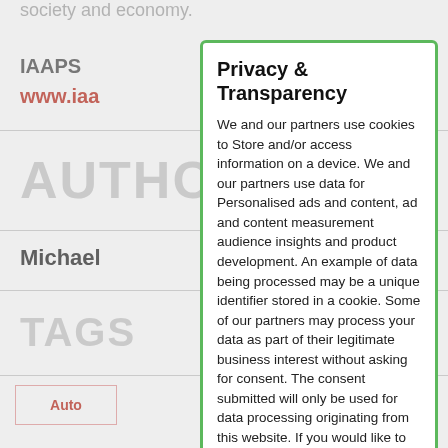society and economy.
IAAPS
www.iaa...
AUTHO
Michael
TAGS
Autom...
...ity
Privacy & Transparency
We and our partners use cookies to Store and/or access information on a device. We and our partners use data for Personalised ads and content, ad and content measurement audience insights and product development. An example of data being processed may be a unique identifier stored in a cookie. Some of our partners may process your data as part of their legitimate business interest without asking for consent. The consent submitted will only be used for data processing originating from this website. If you would like to change your settings or withdrawal your consent at any time, information to do so is in our privacy policy.
Manage
Allow